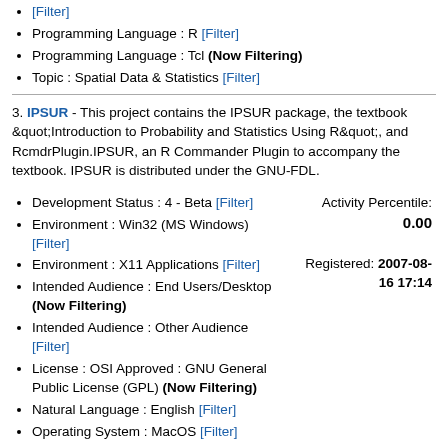[Filter]
Programming Language : R [Filter]
Programming Language : Tcl (Now Filtering)
Topic : Spatial Data & Statistics [Filter]
3. IPSUR - This project contains the IPSUR package, the textbook &quot;Introduction to Probability and Statistics Using R&quot;, and RcmdrPlugin.IPSUR, an R Commander Plugin to accompany the textbook. IPSUR is distributed under the GNU-FDL.
Development Status : 4 - Beta [Filter]
Environment : Win32 (MS Windows) [Filter]
Environment : X11 Applications [Filter]
Intended Audience : End Users/Desktop (Now Filtering)
Intended Audience : Other Audience [Filter]
License : OSI Approved : GNU General Public License (GPL) (Now Filtering)
Natural Language : English [Filter]
Operating System : MacOS [Filter]
Operating System : Microsoft : Windows [Filter]
Programming Language : R [Filter]
Programming Language : Tcl (Now